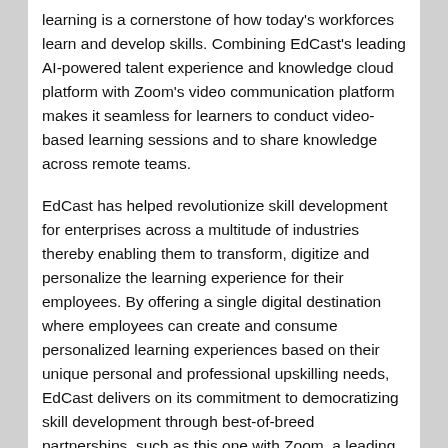learning is a cornerstone of how today's workforces learn and develop skills. Combining EdCast's leading AI-powered talent experience and knowledge cloud platform with Zoom's video communication platform makes it seamless for learners to conduct video-based learning sessions and to share knowledge across remote teams.
EdCast has helped revolutionize skill development for enterprises across a multitude of industries thereby enabling them to transform, digitize and personalize the learning experience for their employees. By offering a single digital destination where employees can create and consume personalized learning experiences based on their unique personal and professional upskilling needs, EdCast delivers on its commitment to democratizing skill development through best-of-breed partnerships, such as this one with Zoom, a leading provider of video communications. Today's business challenge is to maximize